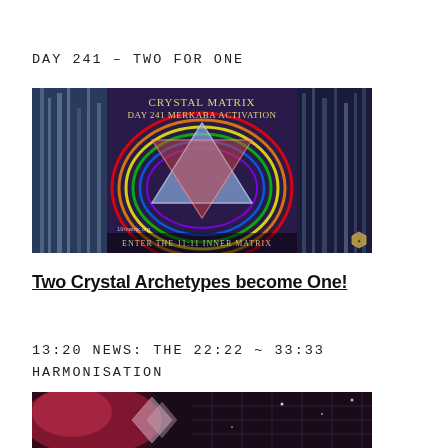DAY 241 – TWO FOR ONE
[Figure (illustration): Crystal Matrix Day 241 Merkaba Activation image. Shows a merkaba/star tetrahedron with rainbow colors and sacred geometry patterns, two waterfalls on sides, text at bottom: 'Enter the 11:11 Inner Matrix', watermark '19matrix.org', small hexagon logo bottom right.]
Two Crystal Archetypes become One!
13:20 NEWS: THE 22:22 ~ 33:33 HARMONISATION
[Figure (photo): Partial image at bottom showing mystical/spiritual scene with pink/red and dark tones, geometric crystal shapes.]